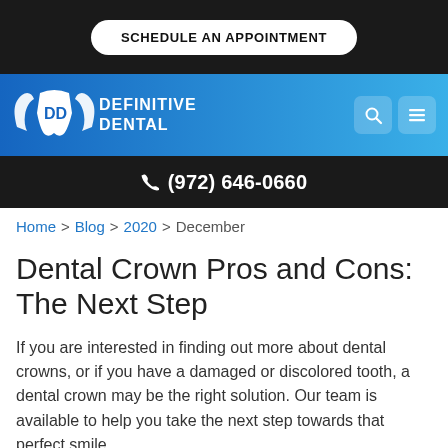SCHEDULE AN APPOINTMENT
[Figure (logo): Definitive Dental logo with wings and tooth icon on blue gradient navigation bar, with search and menu icons]
(972) 646-0660
Home > Blog > 2020 > December
Dental Crown Pros and Cons: The Next Step
If you are interested in finding out more about dental crowns, or if you have a damaged or discolored tooth, a dental crown may be the right solution. Our team is available to help you take the next step towards that perfect smile.